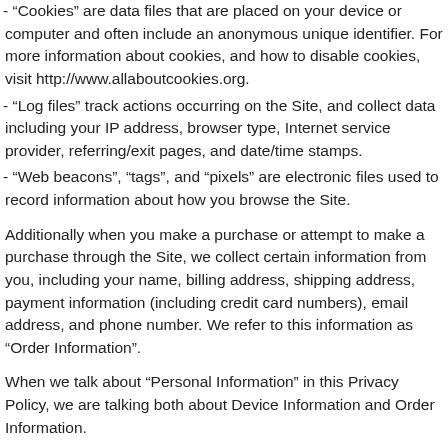- “Cookies” are data files that are placed on your device or computer and often include an anonymous unique identifier. For more information about cookies, and how to disable cookies, visit http://www.allaboutcookies.org.
- “Log files” track actions occurring on the Site, and collect data including your IP address, browser type, Internet service provider, referring/exit pages, and date/time stamps.
- “Web beacons”, “tags”, and “pixels” are electronic files used to record information about how you browse the Site.
Additionally when you make a purchase or attempt to make a purchase through the Site, we collect certain information from you, including your name, billing address, shipping address, payment information (including credit card numbers), email address, and phone number. We refer to this information as “Order Information”.
When we talk about “Personal Information” in this Privacy Policy, we are talking both about Device Information and Order Information.